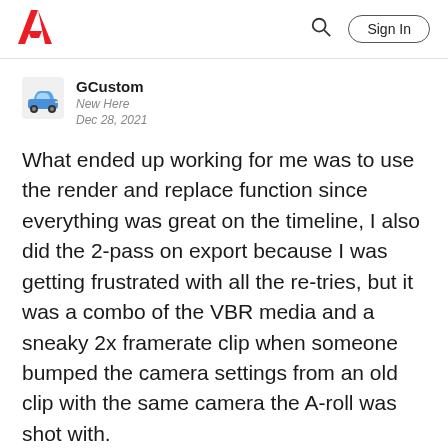Adobe — Search | Sign In
GCustomom
New Here
Dec 28, 2021
What ended up working for me was to use the render and replace function since everything was great on the timeline, I also did the 2-pass on export because I was getting frustrated with all the re-tries, but it was a combo of the VBR media and a sneaky 2x framerate clip when someone bumped the camera settings from an old clip with the same camera the A-roll was shot with.
Like   Translate   ...   Reply